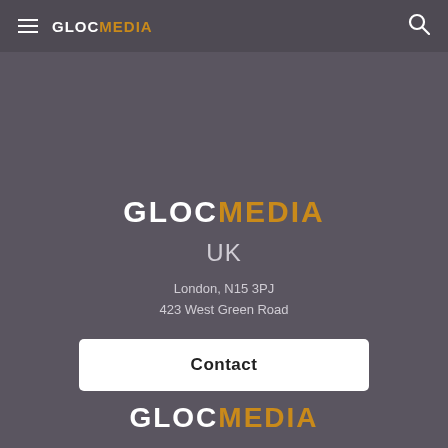GLOCMEDIA
GLOCMEDIA
UK
London, N15 3PJ
423 West Green Road
Contact
GLOCMEDIA